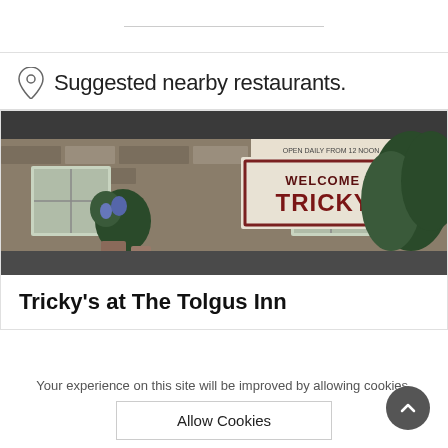Suggested nearby restaurants.
[Figure (photo): Exterior photo of a stone-walled building with a large sign reading 'WELCOME TO TRICKY'S' and a smaller sign above reading 'OPEN DAILY FROM 12 NOON'. There are flowering plants and green bushes visible.]
Tricky's at The Tolgus Inn
Your experience on this site will be improved by allowing cookies.
Allow Cookies